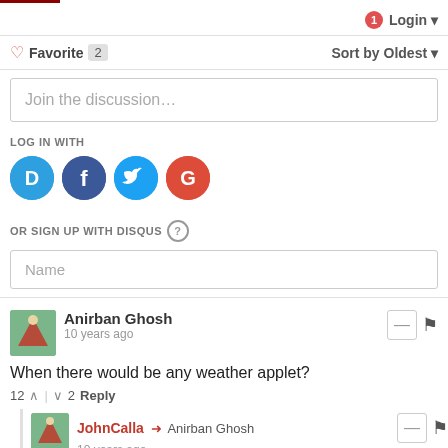1 Login
♡ Favorite 2    Sort by Oldest
Join the discussion...
LOG IN WITH
[Figure (illustration): Social login icons: Disqus (blue speech bubble with D), Facebook (dark blue circle with F), Twitter (light blue circle with bird), Google (red circle with G)]
OR SIGN UP WITH DISQUS ?
Name
Anirban Ghosh
10 years ago
When there would be any weather applet?
12 ↑ | ↓ 2  Reply
JohnCalla → Anirban Ghosh
10 years ago